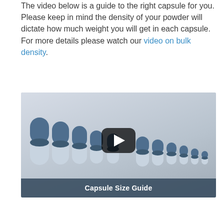The video below is a guide to the right capsule for you. Please keep in mind the density of your powder will dictate how much weight you will get in each capsule. For more details please watch our video on bulk density.
[Figure (screenshot): Video thumbnail showing a row of blue and white capsules in descending size order from left to right, with a play button overlay in the center and a dark banner at the bottom reading 'Capsule Size Guide'.]